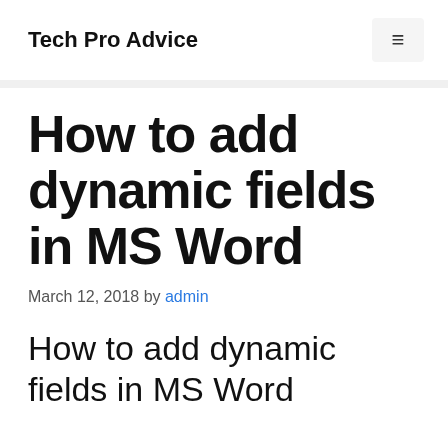Tech Pro Advice
How to add dynamic fields in MS Word
March 12, 2018 by admin
How to add dynamic fields in MS Word